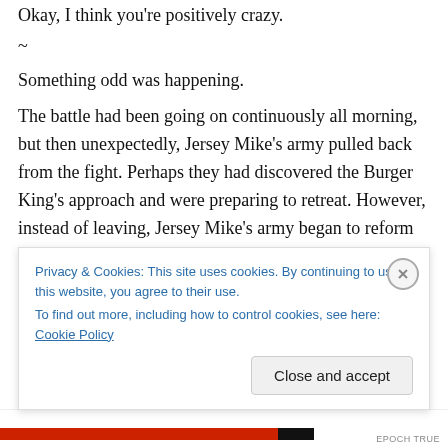Okay, I think you're positively crazy.
~
Something odd was happening.
The battle had been going on continuously all morning, but then unexpectedly, Jersey Mike's army pulled back from the fight. Perhaps they had discovered the Burger King's approach and were preparing to retreat. However, instead of leaving, Jersey Mike's army began to reform their lines. Prince Carl was notified, and he, Colonel Sanders,
Privacy & Cookies: This site uses cookies. By continuing to use this website, you agree to their use.
To find out more, including how to control cookies, see here: Cookie Policy
Close and accept